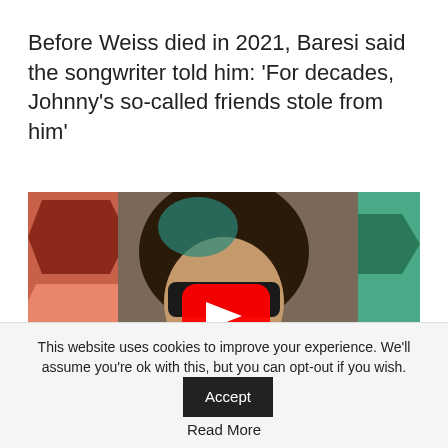Before Weiss died in 2021, Baresi said the songwriter told him: ‘For decades, Johnny’s so-called friends stole from him’
[Figure (screenshot): YouTube video thumbnail showing a person with dark hair singing into a microphone, with colorful geometric diamond patterns in red/orange on the left and teal/green on the right background. A red YouTube play button is centered on the image.]
This website uses cookies to improve your experience. We’ll assume you’re ok with this, but you can opt-out if you wish.
Accept
Read More